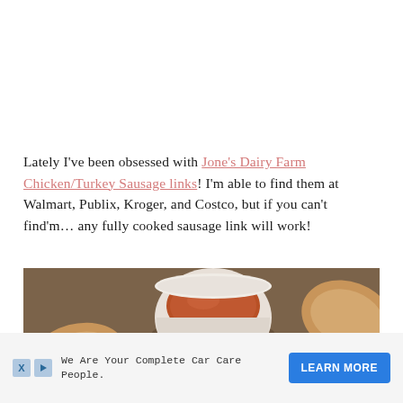Lately I've been obsessed with Jone's Dairy Farm Chicken/Turkey Sausage links! I'm able to find them at Walmart, Publix, Kroger, and Costco, but if you can't find'm... any fully cooked sausage link will work!
[Figure (photo): Photo of fried sausage pieces on a platter with a white bowl of dipping sauce (brown/red sauce), shot from above at a slight angle.]
We Are Your Complete Car Care People. [Ad with LEARN MORE button, X and play icons]